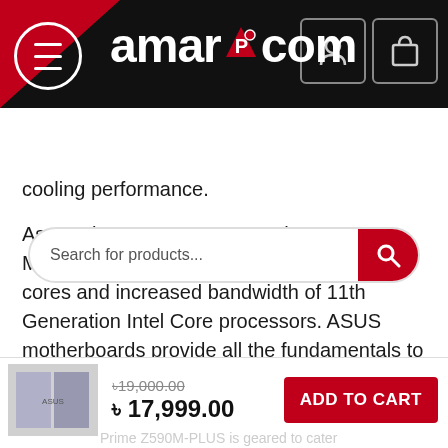[Figure (screenshot): amar PC dot com website header with logo, hamburger menu, user icon and cart icon on dark background with red triangle]
[Figure (screenshot): Search bar with placeholder text 'Search for products...' and red search button]
cooling performance.
Asus Prime Z590M-PLUS 11th Gen Motherboard is built to handle the additional cores and increased bandwidth of 11th Generation Intel Core processors. ASUS motherboards provide all the fundamentals to boost daily productivity, so your system will be ready for action with stable power, intuitive cooling, and flexible transfer options. Stable power is essential to extract every last bit of performance out of 11th Generation Intel Core processors.
৳19,000.00  ৳ 17,999.00  ADD TO CART
Prime Z590M-PLUS is geared to cater